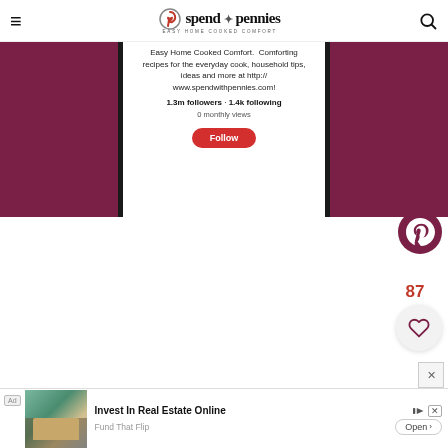spend with pennies — Easy Home Cooked Comfort
[Figure (screenshot): Pinterest profile page for spendwithpennies showing maroon banner panels on left and right, profile description text in center, follower stats, follow button, and Pinterest badge icon]
Easy Home Cooked Comfort. Comforting recipes for the everyday cook, household tips, ideas and more at http://www.spendwithpennies.com!
1.3m followers · 1.4k following
0 monthly views
Follow
87
[Figure (infographic): Ad banner: Invest In Real Estate Online — Fund That Flip, Open button, house image]
Ad — Invest In Real Estate Online
Fund That Flip    Open